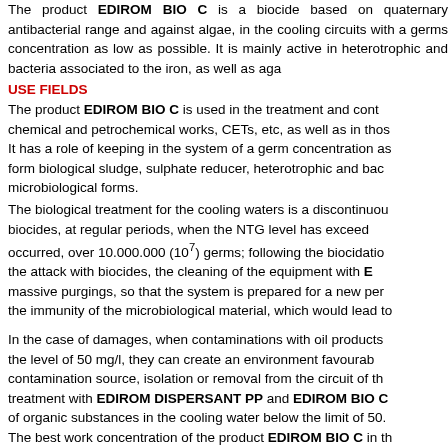The product EDIROM BIO C is a biocide based on quaternary ammonium compounds, with a wide antibacterial range and against algae, in the cooling circuits with recirculation, having a role of maintaining a germs concentration as low as possible. It is mainly active in the control of heterotrophic and bacteria associated to the iron, as well as against algae.
USE FIELDS
The product EDIROM BIO C is used in the treatment and control of cooling waters of energy, chemical and petrochemical works, CETs, etc, as well as in those from the industrial circuits. It has a role of keeping in the system of a germ concentration as low as possible of those that form biological sludge, sulphate reducer, heterotrophic and bacteria as well as other microbiological forms.
The biological treatment for the cooling waters is a discontinuous one, by the administration of biocides, at regular periods, when the NTG level has exceeded the admissible limit or an impact occurred, over 10.000.000 (10^7) germs; following the biocidation, it is recommended to continue the attack with biocides, the cleaning of the equipment with EDIROM DISPERSANT PP and massive purgings, so that the system is prepared for a new period, avoiding in this way the immunity of the microbiological material, which would lead to a massive contamination.
In the case of damages, when contaminations with oil products from the technological circuits exceed the level of 50 mg/l, they can create an environment favourable for the microbial development. The contamination source, isolation or removal from the circuit of the contaminated water and then the treatment with EDIROM DISPERSANT PP and EDIROM BIO C are recommended for the reduction of organic substances in the cooling water below the limit of 50 mg/l. The best work concentration of the product EDIROM BIO C in t...